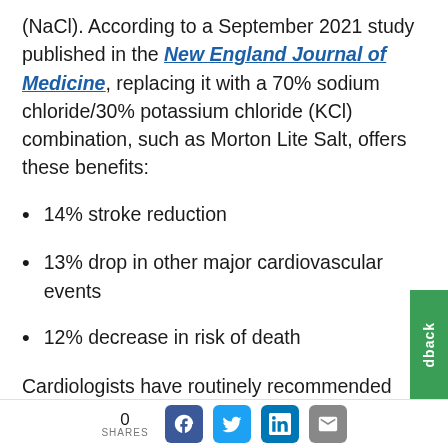(NaCl). According to a September 2021 study published in the New England Journal of Medicine, replacing it with a 70% sodium chloride/30% potassium chloride (KCl) combination, such as Morton Lite Salt, offers these benefits:
14% stroke reduction
13% drop in other major cardiovascular events
12% decrease in risk of death
Cardiologists have routinely recommended